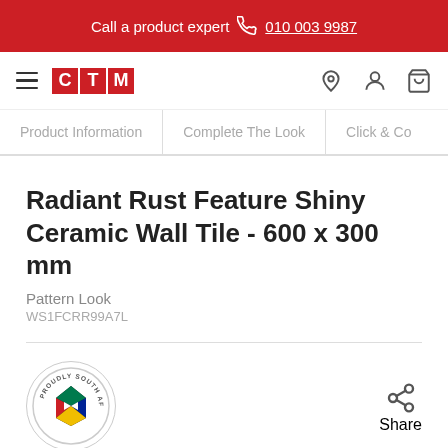Call a product expert  010 003 9987
[Figure (logo): CTM logo with red letter boxes C, T, M]
Product Information | Complete The Look | Click & Co
Radiant Rust Feature Shiny Ceramic Wall Tile - 600 x 300 mm
Pattern Look
WS1FCRR99A7L
[Figure (logo): Proudly South African circular badge logo with coloured shield]
Share